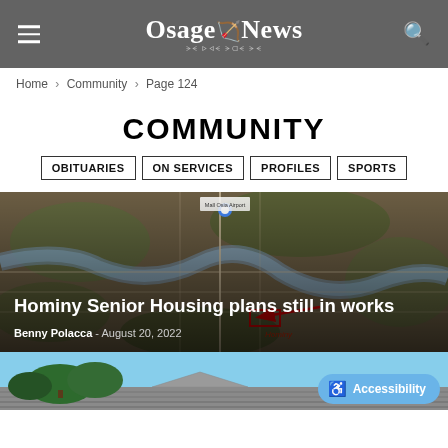Osage News
Home > Community > Page 124
COMMUNITY
OBITUARIES
ON SERVICES
PROFILES
SPORTS
[Figure (map): Aerial satellite map view of Hominy area showing roads and landscape with red arrow annotation marking senior housing location]
Hominy Senior Housing plans still in works
Benny Polacca  -  August 20, 2022
[Figure (photo): Partial view of a rooftop with blue sky and trees in background]
Accessibility